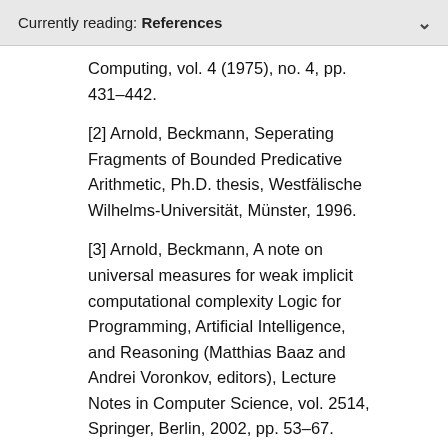Currently reading: References
Computing, vol. 4 (1975), no. 4, pp. 431–442.
[2] Arnold, Beckmann, Seperating Fragments of Bounded Predicative Arithmetic, Ph.D. thesis, Westfälische Wilhelms-Universität, Münster, 1996.
[3] Arnold, Beckmann, A note on universal measures for weak implicit computational complexity Logic for Programming, Artificial Intelligence, and Reasoning (Matthias Baaz and Andrei Voronkov, editors), Lecture Notes in Computer Science, vol. 2514, Springer, Berlin, 2002, pp. 53–67.
[4] Arnold, Beckmann, Reasoning...